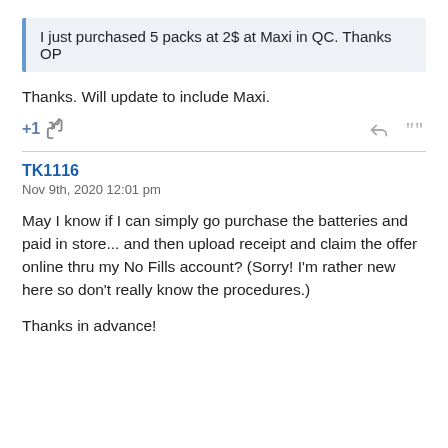I just purchased 5 packs at 2$ at Maxi in QC. Thanks OP
Thanks. Will update to include Maxi.
+1
TK1116
Nov 9th, 2020 12:01 pm
May I know if I can simply go purchase the batteries and paid in store... and then upload receipt and claim the offer online thru my No Fills account? (Sorry! I'm rather new here so don't really know the procedures.)
Thanks in advance!